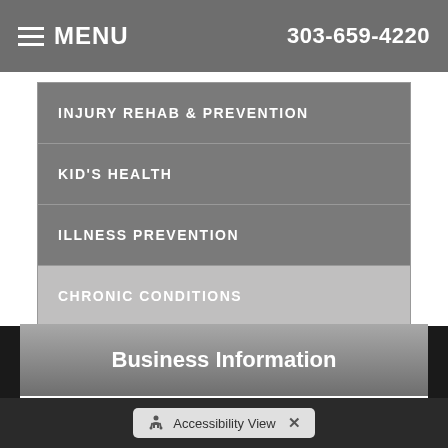MENU  303-659-4220
INJURY REHAB & PREVENTION
KID'S HEALTH
ILLNESS PREVENTION
CHRONIC CONDITIONS
NUTRITION & HEALTHY EATING
Business Information
Accessibility View